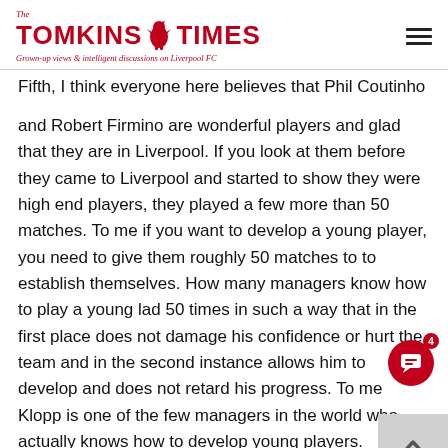The Tomkins Times – Grown-up views & intelligent discussions on Liverpool FC
Fifth, I think everyone here believes that Phil Coutinho and Robert Firmino are wonderful players and glad that they are in Liverpool. If you look at them before they came to Liverpool and started to show they were high end players, they played a few more than 50 matches. To me if you want to develop a young player, you need to give them roughly 50 matches to to establish themselves. How many managers know how to play a young lad 50 times in such a way that in the first place does not damage his confidence or hurt the team and in the second instance allows him to develop and does not retard his progress. To me Klopp is one of the few managers in the world who actually knows how to develop young players.